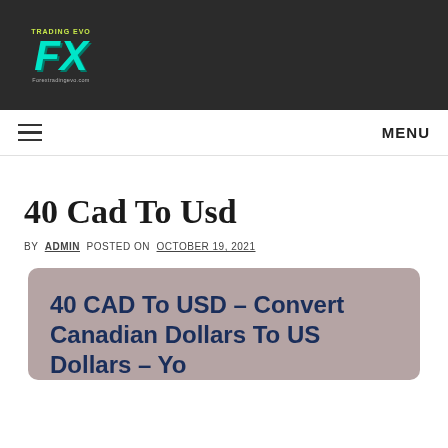[Figure (logo): Trading EVO FX logo with teal italic FX text on dark background, with 'TRADING EVO' text above and 'Forextradingevo.com' below]
MENU
40 Cad To Usd
BY ADMIN POSTED ON OCTOBER 19, 2021
40 CAD To USD – Convert Canadian Dollars To US Dollars – Yo